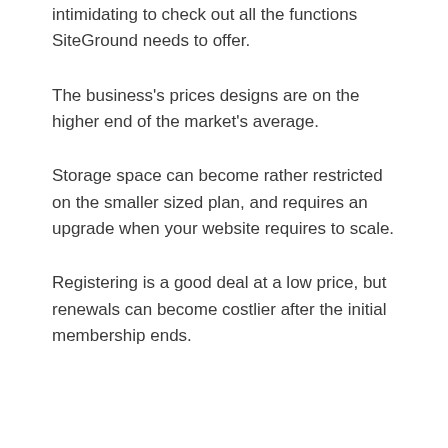intimidating to check out all the functions SiteGround needs to offer.
The business's prices designs are on the higher end of the market's average.
Storage space can become rather restricted on the smaller sized plan, and requires an upgrade when your website requires to scale.
Registering is a good deal at a low price, but renewals can become costlier after the initial membership ends.